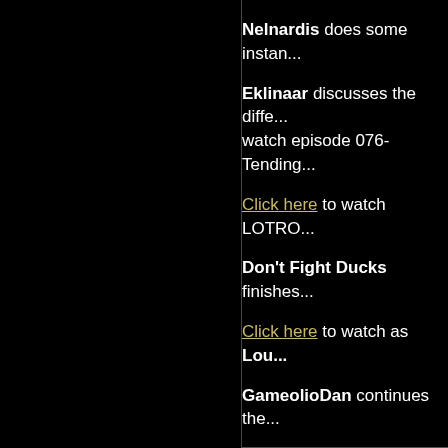Nelnardis does some instan...
Eklinaar discusses the diffe... watch episode 076- Tending...
Click here to watch LOTRO...
Don't Fight Ducks finishes...
Click here to watch as Lou...
GameolioDan continues the...
Click here to watch the...
Double Bonus Points i...
Enjoy The Summer Fes...